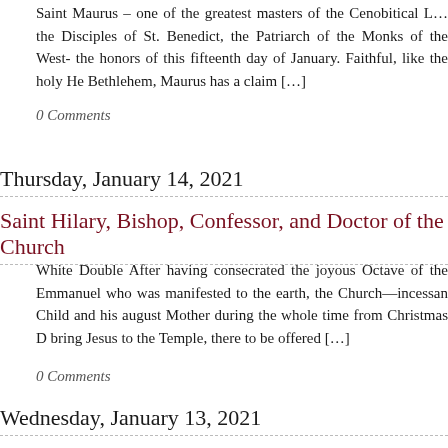Saint Maurus – one of the greatest masters of the Cenobitical L... the Disciples of St. Benedict, the Patriarch of the Monks of the West- the honors of this fifteenth day of January. Faithful, like the holy He Bethlehem, Maurus has a claim […]
0 Comments
Thursday, January 14, 2021
Saint Hilary, Bishop, Confessor, and Doctor of the Church
White Double After having consecrated the joyous Octave of the Emmanuel who was manifested to the earth, the Church—incessan Child and his august Mother during the whole time from Christmas D bring Jesus to the Temple, there to be offered […]
0 Comments
Wednesday, January 13, 2021